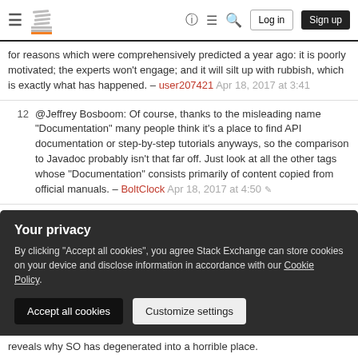Stack Exchange navigation bar with hamburger menu, logo, help, chat, search icons, Log in and Sign up buttons
for reasons which were comprehensively predicted a year ago: it is poorly motivated; the experts won't engage; and it will silt up with rubbish, which is exactly what has happened. – user207421 Apr 18, 2017 at 3:41
12  @Jeffrey Bosboom: Of course, thanks to the misleading name "Documentation" many people think it's a place to find API documentation or step-by-step tutorials anyways, so the comparison to Javadoc probably isn't that far off. Just look at all the other tags whose "Documentation" consists primarily of content copied from official manuals. – BoltClock Apr 18, 2017 at 4:50
Your privacy
By clicking "Accept all cookies", you agree Stack Exchange can store cookies on your device and disclose information in accordance with our Cookie Policy.
Accept all cookies   Customize settings
reveals why SO has degenerated into a horrible place.